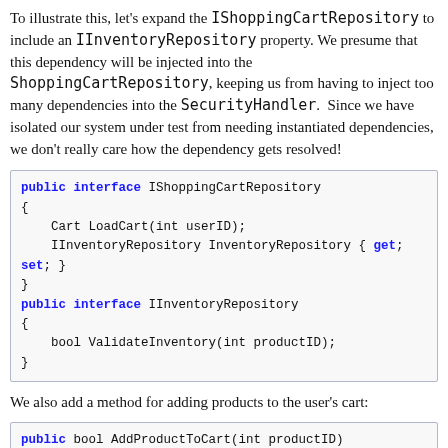To illustrate this, let's expand the IShoppingCartRepository to include an IInventoryRepository property. We presume that this dependency will be injected into the ShoppingCartRepository, keeping us from having to inject too many dependencies into the SecurityHandler.  Since we have isolated our system under test from needing instantiated dependencies, we don't really care how the dependency gets resolved!
[Figure (screenshot): Code block showing C# interface definitions: IShoppingCartRepository with LoadCart and InventoryRepository members, and IInventoryRepository with ValidateInventory method.]
We also add a method for adding products to the user's cart:
[Figure (screenshot): Code block showing beginning of public bool AddProductToCart(int productID) method signature.]